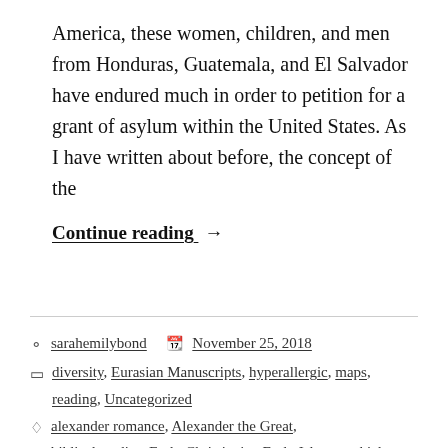America, these women, children, and men from Honduras, Guatemala, and El Salvador have endured much in order to petition for a grant of asylum within the United States. As I have written about before, the concept of the
Continue reading →
sarahemilybond   November 25, 2018
diversity, Eurasian Manuscripts, hyperallergic, maps, reading, Uncategorized
alexander romance, Alexander the Great, biblical studies, Early Christianity, Early Islam, ezekiel, gog and magog, Judaism, Late Antiquity, medieval history
2 Comments